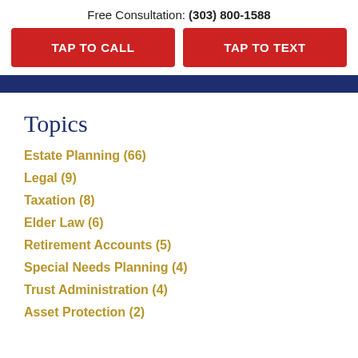Free Consultation: (303) 800-1588
TAP TO CALL
TAP TO TEXT
Topics
Estate Planning (66)
Legal (9)
Taxation (8)
Elder Law (6)
Retirement Accounts (5)
Special Needs Planning (4)
Trust Administration (4)
Asset Protection (2)